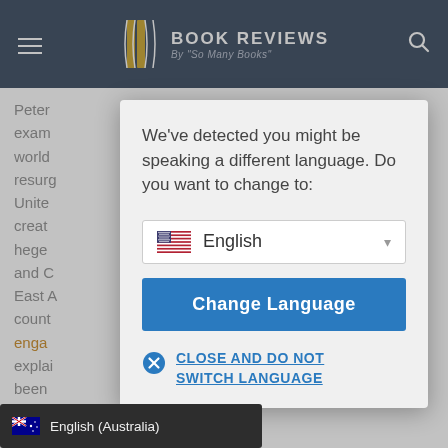[Figure (screenshot): Book Reviews website header with hamburger menu, book stack logo, 'BOOK REVIEWS By So Many Books' title, and search icon on dark navy background]
Peter exam world resurg the Unite creat hege ne and C in East A count
engage
explai have been al affairs
terro appear anytime soon; why clim ore problems than it solves;
We've detected you might be speaking a different language. Do you want to change to:
English
Change Language
CLOSE AND DO NOT SWITCH LANGUAGE
English (Australia)